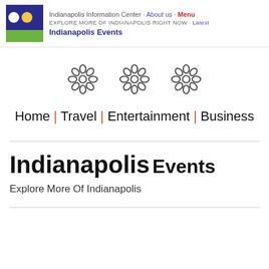Indianapolis Information Center · About us · Menu
EXPLORE MORE OF INDIANAPOLIS RIGHT NOW · Latest
Indianapolis Events
[Figure (illustration): Three decorative flower/rosette symbols arranged horizontally]
Home | Travel | Entertainment | Business
Indianapolis Events
Explore More Of Indianapolis